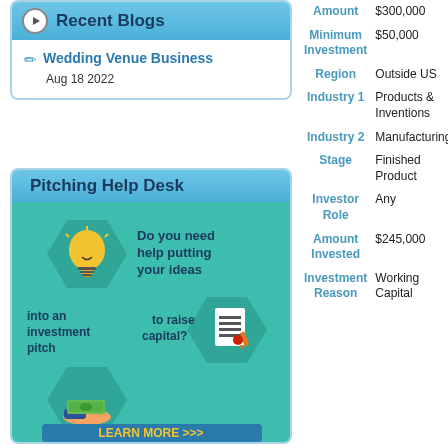Recent Blogs
Wedding Venue Business
Aug 18 2022
Pitching Help Desk
[Figure (infographic): Pitching Help Desk infographic with lightbulb, document, and money icons on teal hexagon background asking 'Do you need help putting your ideas into an investment pitch to raise capital?' with LEARN MORE >>> button]
| Field | Value |
| --- | --- |
| Amount | $300,000 |
| Minimum Investment | $50,000 |
| Region | Outside US |
| Industry 1 | Products & Inventions |
| Industry 2 | Manufacturing |
| Stage | Finished Product |
| Investor Role | Any |
| Amount Invested | $245,000 |
| Investment Reason | Working Capital |
You might be interested in these proposals:
Nitric Oxide: The Health & Revolution of this Century Well-Aging
Multi Billion Dollar Industry Marble, Quartz, Tiles, Wo... Stones
Wholesale Business for fa... european ladies golf sho...